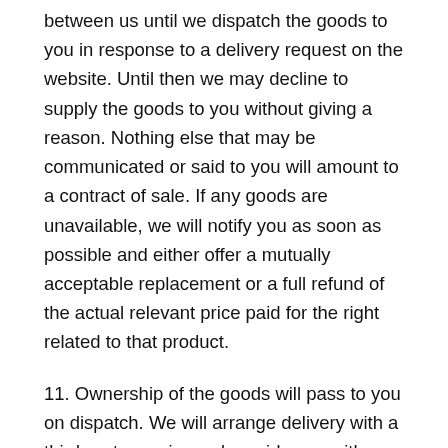between us until we dispatch the goods to you in response to a delivery request on the website. Until then we may decline to supply the goods to you without giving a reason. Nothing else that may be communicated or said to you will amount to a contract of sale. If any goods are unavailable, we will notify you as soon as possible and either offer a mutually acceptable replacement or a full refund of the actual relevant price paid for the right related to that product.
11. Ownership of the goods will pass to you on dispatch. We will arrange delivery with a third-party courier and provide you with tracking details. An extra delivery charge may be payable if